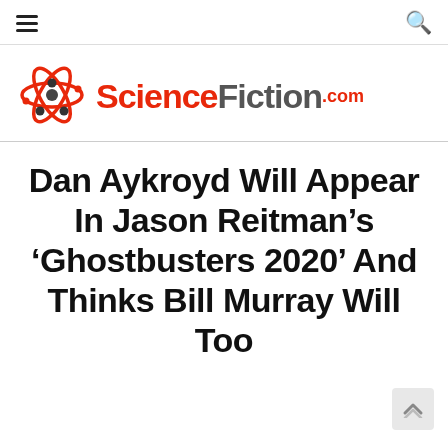☰  🔍
[Figure (logo): ScienceFiction.com logo with atom/orbiting icon on the left and bold red and dark text reading ScienceFiction.com]
Dan Aykroyd Will Appear In Jason Reitman's 'Ghostbusters 2020' And Thinks Bill Murray Will Too